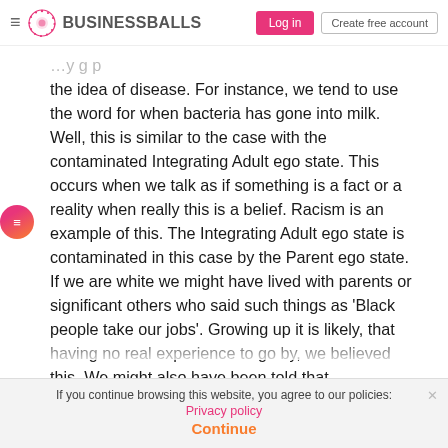BUSINESSBALLS — Log in | Create free account
the idea of disease. For instance, we tend to use the word for when bacteria has gone into milk. Well, this is similar to the case with the contaminated Integrating Adult ego state. This occurs when we talk as if something is a fact or a reality when really this is a belief. Racism is an example of this. The Integrating Adult ego state is contaminated in this case by the Parent ego state. If we are white we might have lived with parents or significant others who said such things as 'Black people take our jobs'. Growing up it is likely, that having no real experience to go by, we believed this. We might also have been told that
If you continue browsing this website, you agree to our policies: Privacy policy  Continue